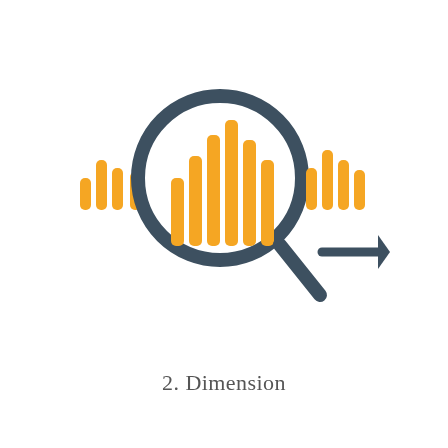[Figure (illustration): An icon showing a magnifying glass over a set of orange bar chart bars, with additional smaller bars to the left outside the magnifying glass and bars to the right outside it. A dark arrow points to the right, suggesting analysis or search of data dimensions.]
2. Dimension